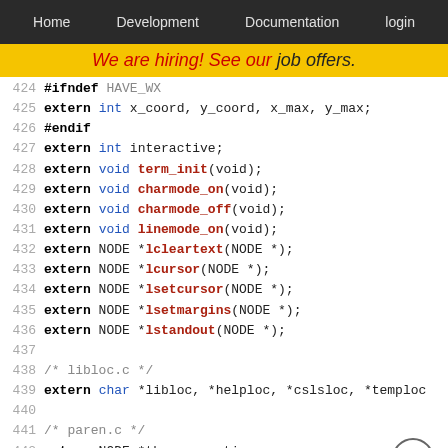Home   Development   Documentation   login
We are hiring! See our job offers.
424  #ifndef HAVE_WX
425  extern int x_coord, y_coord, x_max, y_max;
426  #endif
427  extern int interactive;
428  extern void term_init(void);
429  extern void charmode_on(void);
430  extern void charmode_off(void);
431  extern void linemode_on(void);
432  extern NODE *lcleartext(NODE *);
433  extern NODE *lcursor(NODE *);
434  extern NODE *lsetcursor(NODE *);
435  extern NODE *lsetmargins(NODE *);
436  extern NODE *lstandout(NODE *);
437  
438  /* libloc.c */
439  extern char *libloc, *helploc, *cslsloc, *temploc
440  
441  /* paren.c */
442  extern NODE *the_generation;
443  extern void untreeify_proc(NODE *);